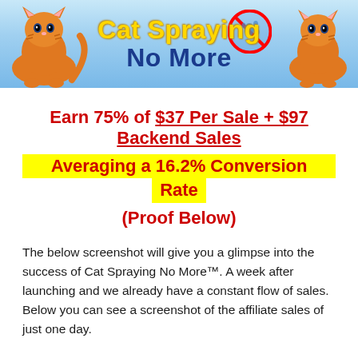[Figure (illustration): Cat Spraying No More banner with orange tabby cat on left, orange tabby cat on right, no-spray icon in center-right, blue gradient background, 'Cat Spraying' in gold text and 'No More' in dark blue text]
Earn 75% of $37 Per Sale + $97 Backend Sales Averaging a 16.2% Conversion Rate (Proof Below)
The below screenshot will give you a glimpse into the success of Cat Spraying No More™. A week after launching and we already have a constant flow of sales. Below you can see a screenshot of the affiliate sales of just one day.